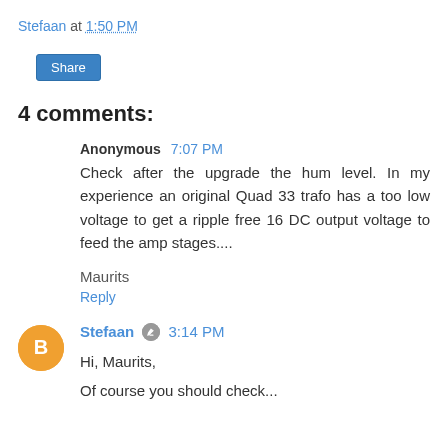Stefaan at 1:50 PM
Share
4 comments:
Anonymous 7:07 PM
Check after the upgrade the hum level. In my experience an original Quad 33 trafo has a too low voltage to get a ripple free 16 DC output voltage to feed the amp stages....
Maurits
Reply
Stefaan 3:14 PM
Hi, Maurits,
Of course you should check...the amp stages and...